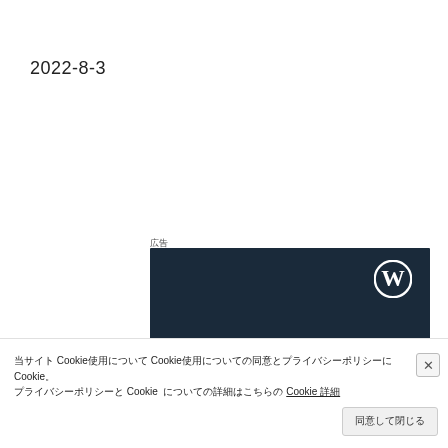2022-8-3
広告
[Figure (screenshot): WordPress.com banner image with dark navy background, WordPress 'W' circle logo in top right, large italic serif text 'Opinions.' and partially visible subtitle text below on dark background.]
当サイト Cookie使用について Cookie使用についての同意とプライバシーポリシーに Cookie。
プライバシーポリシーと Cookie についての詳細はこちらの Cookie 詳細
同意して閉じる